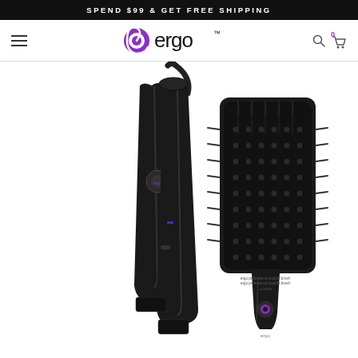SPEND $99 & GET FREE SHIPPING
[Figure (logo): Ergo brand logo with stylized purple swirl 'e' and 'ergo' wordmark with TM symbol]
[Figure (photo): Ergo branded hair tools: a black flat iron/hair straightener on the left and a black paddle brush on the right, both against a white background]